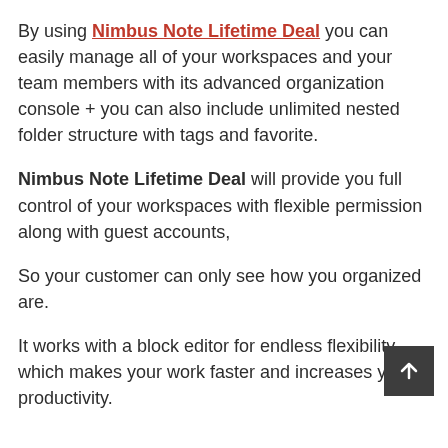By using Nimbus Note Lifetime Deal you can easily manage all of your workspaces and your team members with its advanced organization console + you can also include unlimited nested folder structure with tags and favorite.
Nimbus Note Lifetime Deal will provide you full control of your workspaces with flexible permission along with guest accounts,
So your customer can only see how you organized are.
It works with a block editor for endless flexibility which makes your work faster and increases your productivity.